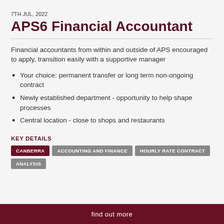7TH JUL, 2022
APS6 Financial Accountant
Financial accountants from within and outside of APS encouraged to apply, transition easily with a supportive manager
Your choice: permanent transfer or long term non-ongoing contract
Newly established department - opportunity to help shape processes
Central location - close to shops and restaurants
KEY DETAILS
CANBERRA | ACCOUNTING AND FINANCE | HOURLY RATE CONTRACT | ANALYSIS
find out more